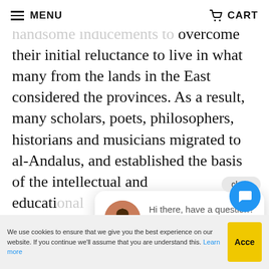MENU   CART
actively recruited scholars by offering handsome inducements to overcome their initial reluctance to live in what many from the lands in the East considered the provinces. As a result, many scholars, poets, philosophers, historians and musicians migrated to al-Andalus, and established the basis of the intellectual and educational... Spain so... 400 years.
[Figure (screenshot): Chat popup with avatar of a woman, text: Hi there, have a question? Text us here. Close button above popup. Blue chat widget button bottom right.]
We use cookies to ensure that we give you the best experience on our website. If you continue we'll assume that you are understand this. Learn more